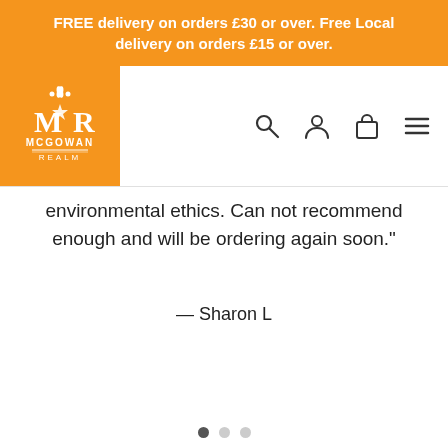FREE delivery on orders £30 or over. Free Local delivery on orders £15 or over.
[Figure (logo): McGowan Realm logo — orange square with white MR monogram and crown, text MCGOWAN REALM below]
environmental ethics. Can not recommend enough and will be ordering again soon."
— Sharon L